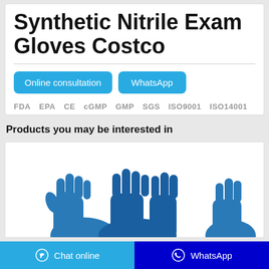Synthetic Nitrile Exam Gloves Costco
Online consultation   WhatsApp
FDA  EPA  CE  cGMP  GMP  SGS  ISO9001  ISO14001
Products you may be interested in
[Figure (photo): Blue nitrile exam gloves product photo showing multiple gloves]
Chat online   WhatsApp